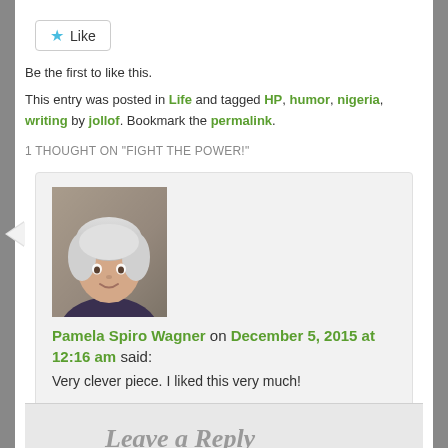[Figure (other): Like button with blue star icon]
Be the first to like this.
This entry was posted in Life and tagged HP, humor, nigeria, writing by jollof. Bookmark the permalink.
1 THOUGHT ON "FIGHT THE POWER!"
[Figure (photo): Avatar photo of Pamela Spiro Wagner, an elderly woman with white hair]
Pamela Spiro Wagner on December 5, 2015 at 12:16 am said:
Very clever piece. I liked this very much!
Reply ↓
Leave a Reply